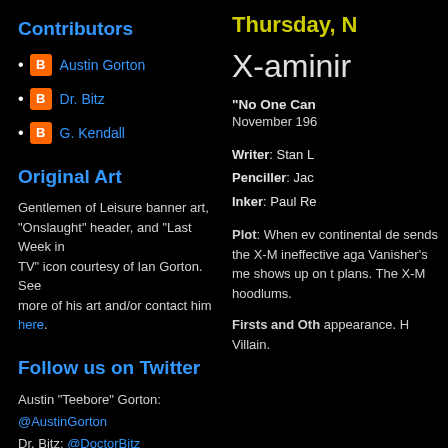Contributors
Austin Gorton
Dr. Bitz
G. Kendall
Original Art
Gentlemen of Leisure banner art, "Onslaught" header, and "Last Week in TV" icon courtesy of Ian Gorton. See more of his art and/or contact him here.
Follow us on Twitter
Austin "Teebore" Gorton: @AustinGorton
Dr. Bitz: @DoctorBitz
G. Kendall: @NBX_Tweets
Saved by the Bell Reviewed: The Podcast: @SBTB_Reviewed
A Very Special Episode: @AVSEPod
Thursday, N
X-aminir
"No One Can"
November 196
Writer: Stan L
Penciller: Jac
Inker: Paul Re
Plot: When ev continental de sends the X-M ineffective aga Vanisher's me shows up on t plans. The X-M hoodlums.
Firsts and Oth appearance. H Villain.